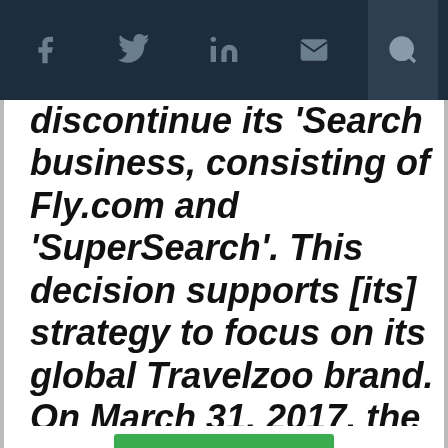Navigation bar with social icons: Facebook, Twitter, LinkedIn, Email, Search
discontinue its 'Search business, consisting of Fly.com and 'SuperSearch'. This decision supports [its] strategy to focus on its global Travelzoo brand. On March 31, 2017, the company sold the Fly.com domain name to third party."
This website uses cookies to enhance user experience and to analyze performance and traffic on our website. By using this site, you agree to the use of cookies. You may change your cookie settings at any time, but the site may not function properly.  Cookie Policy